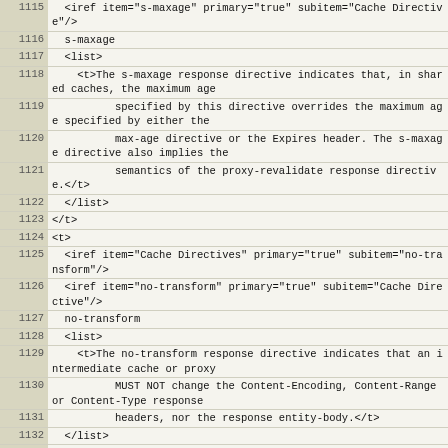Code listing lines 1115–1138, XML source for HTTP cache directive documentation
| Line | Code |
| --- | --- |
| 1115 |   <iref item="s-maxage" primary="true" subitem="Cache Directive"/> |
| 1116 |   s-maxage |
| 1117 |   <list> |
| 1118 |     <t>The s-maxage response directive indicates that, in shared caches, the maximum age |
| 1119 |           specified by this directive overrides the maximum age specified by either the |
| 1120 |           max-age directive or the Expires header. The s-maxage directive also implies the |
| 1121 |           semantics of the proxy-revalidate response directive.</t> |
| 1122 |   </list> |
| 1123 | </t> |
| 1124 | <t> |
| 1125 |   <iref item="Cache Directives" primary="true" subitem="no-transform"/> |
| 1126 |   <iref item="no-transform" primary="true" subitem="Cache Directive"/> |
| 1127 |   no-transform |
| 1128 |   <list> |
| 1129 |     <t>The no-transform response directive indicates that an intermediate cache or proxy |
| 1130 |           MUST NOT change the Content-Encoding, Content-Range or Content-Type response |
| 1131 |           headers, nor the response entity-body.</t> |
| 1132 |   </list> |
| 1133 | </t> |
| 1134 |  |
| 1135 | </section> |
| 1136 |  |
| 1137 | <section anchor="cache.control.extensions" title="Cache Control Extensions"> |
| 1138 | <t> |